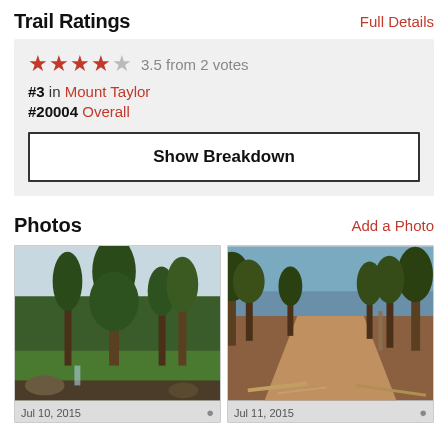Trail Ratings
Full Details
3.5 from 2 votes
#3 in Mount Taylor
#20004 Overall
Show Breakdown
Photos
Add a Photo
[Figure (photo): Forest scene with tall pine trees against a cloudy sky, green shrubs in foreground, rocky terrain]
[Figure (photo): Dirt trail winding through sparse forest with brown ground, downed wood and debris visible]
Jul 10, 2015
Jul 11, 2015